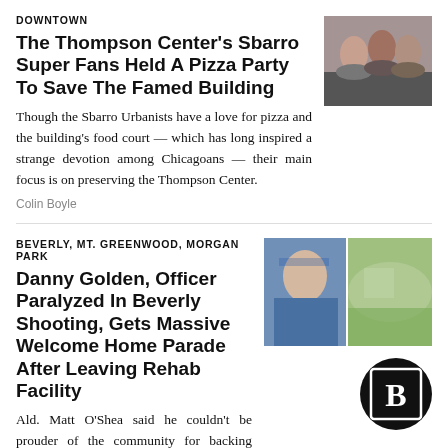DOWNTOWN
The Thompson Center's Sbarro Super Fans Held A Pizza Party To Save The Famed Building
[Figure (photo): Group photo of people at event]
Though the Sbarro Urbanists have a love for pizza and the building's food court — which has long inspired a strange devotion among Chicagoans — their main focus is on preserving the Thompson Center.
Colin Boyle
BEVERLY, MT. GREENWOOD, MORGAN PARK
Danny Golden, Officer Paralyzed In Beverly Shooting, Gets Massive Welcome Home Parade After Leaving Rehab Facility
[Figure (photo): Two photos: officer in car and parade scene]
Ald. Matt O'Shea said he couldn't be prouder of the community for backing Golden with a million-dollar fundraiser and signs of support. "You mark my words, Danny Golden is going to walk again."
[Figure (logo): Block Club Chicago logo - B in circle]